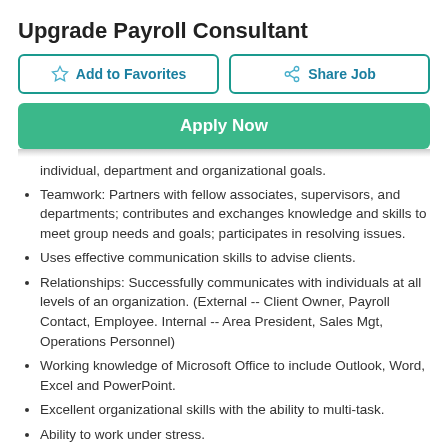Upgrade Payroll Consultant
Add to Favorites | Share Job | Apply Now
individual, department and organizational goals.
Teamwork: Partners with fellow associates, supervisors, and departments; contributes and exchanges knowledge and skills to meet group needs and goals; participates in resolving issues.
Uses effective communication skills to advise clients.
Relationships: Successfully communicates with individuals at all levels of an organization. (External -- Client Owner, Payroll Contact, Employee. Internal -- Area President, Sales Mgt, Operations Personnel)
Working knowledge of Microsoft Office to include Outlook, Word, Excel and PowerPoint.
Excellent organizational skills with the ability to multi-task.
Ability to work under stress.
Detail Oriented